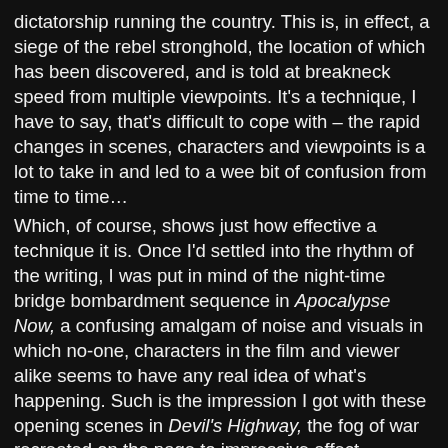dictatorship running the country. This is, in effect, a siege of the rebel stronghold, the location of which has been discovered, and is told at breakneck speed from multiple viewpoints. It's a technique, I have to say, that's difficult to cope with – the rapid changes in scenes, characters and viewpoints is a lot to take in and led to a wee bit of confusion from time to time…
Which, of course, shows just how effective a technique it is. Once I'd settled into the rhythm of the writing, I was put in mind of the night-time bridge bombardment sequence in Apocalypse Now, a confusing amalgam of noise and visuals in which no-one, characters in the film and viewer alike seems to have any real idea of what's happening. Such is the impression I got with these opening scenes in Devil's Highway, the fog of war recreated on the page to impressive effect.
All of the characters who survived Hell's Ditch return, Helen Damnation, Thereus Winterborn, Gevaudan Shoal and all the others but there's also the introduction of the Catchmen, part human, part robot – relentless killing machines created by the Tindalos Project. I loved the concept of the Catchmen – was put in mind of the old TV programme The Nightmare